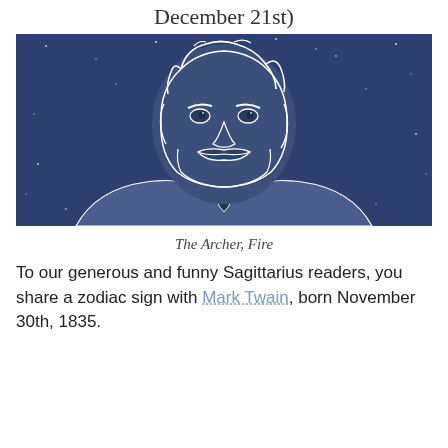December 21st)
[Figure (illustration): Line art illustration of Mark Twain on a dark navy blue background with small white dots resembling stars. The figure shows a man with curly/wavy hair, a thick mustache, strong brow, wearing a suit jacket with a tie. The illustration uses white outlines on a dark blue background.]
The Archer, Fire
To our generous and funny Sagittarius readers, you share a zodiac sign with Mark Twain, born November 30th, 1835.